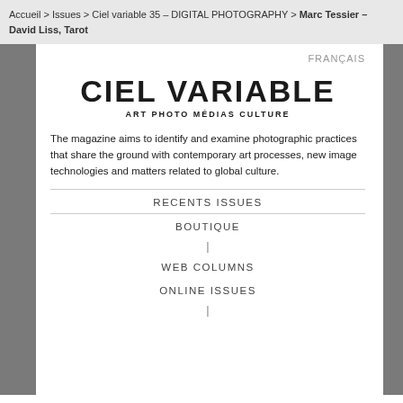Accueil > Issues > Ciel variable 35 – DIGITAL PHOTOGRAPHY > Marc Tessier – David Liss, Tarot
FRANÇAIS
[Figure (logo): Ciel Variable logo with bold text 'CIEL VARIABLE' and subtitle 'ART PHOTO MÉDIAS CULTURE']
The magazine aims to identify and examine photographic practices that share the ground with contemporary art processes, new image technologies and matters related to global culture.
RECENTS ISSUES
BOUTIQUE
|
WEB COLUMNS
ONLINE ISSUES
|